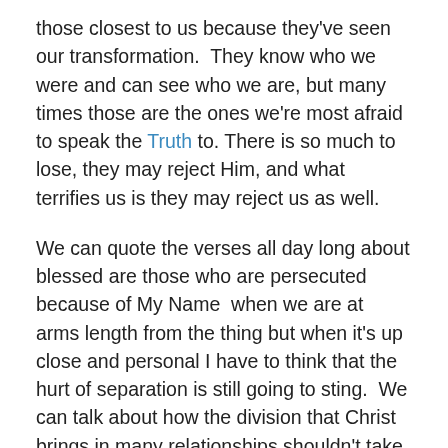those closest to us because they've seen our transformation.  They know who we were and can see who we are, but many times those are the ones we're most afraid to speak the Truth to. There is so much to lose, they may reject Him, and what terrifies us is they may reject us as well.
We can quote the verses all day long about blessed are those who are persecuted because of My Name  when we are at arms length from the thing but when it's up close and personal I have to think that the hurt of separation is still going to sting.  We can talk about how the division that Christ brings in many relationships shouldn't take us off guard because He tells us in His Word that mother and father will be split from children and brother will forsake brother on account of Him.  Well, it might not take our